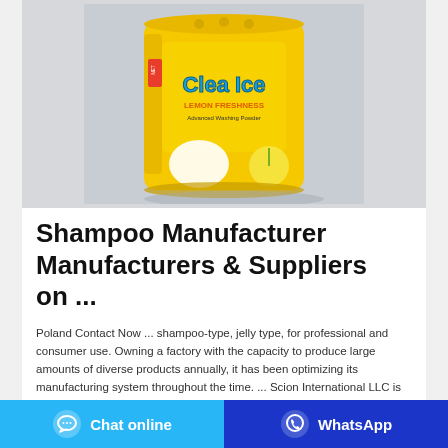[Figure (photo): Yellow detergent powder bag (Clea Ice brand, Lemon Freshness) on a light gray background]
Shampoo Manufacturer Manufacturers & Suppliers on ...
Poland Contact Now ... shampoo-type, jelly type, for professional and consumer use. Owning a factory with the capacity to produce large amounts of diverse products annually, it has been optimizing its manufacturing system throughout the time. ... Scion International LLC is well-known as one of world's biggest manufacturers in the world of ...